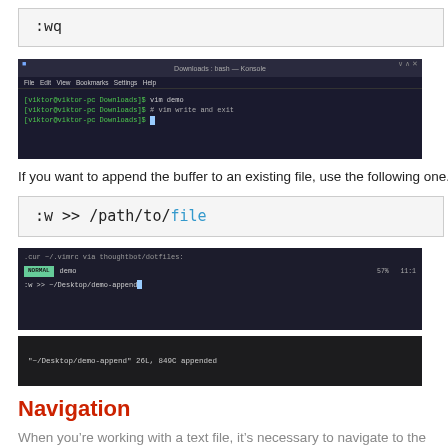[Figure (screenshot): Code box showing :wq command in monospace font with grey border]
[Figure (screenshot): Terminal window (Konsole) showing vim demo, vim write and exit commands with green prompt text on dark background]
If you want to append the buffer to an existing file, use the following one.
[Figure (screenshot): Code box showing :w >> /path/to/file command in monospace font with blue 'file' text]
[Figure (screenshot): Vim editor screenshot showing NORMAL mode with :w >> ~/Desktop/demo-append command]
[Figure (screenshot): Terminal showing ~/Desktop/demo-append 26L, 849C appended]
Navigation
When you’re working with a text file, it’s necessary to navigate to the needed place. For example, when